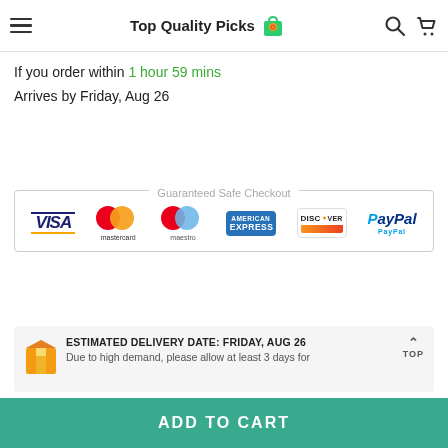Top Quality Picks
If you order within 1 hour 59 mins
Arrives by Friday, Aug 26
[Figure (infographic): Guaranteed Safe Checkout banner with payment method logos: VISA, Mastercard, Maestro, American Express, Discover, PayPal]
[Figure (infographic): Estimated Delivery Date: Friday, Aug 26 box with package icon and text: Due to high demand, please allow at least 3 days for]
ADD TO CART